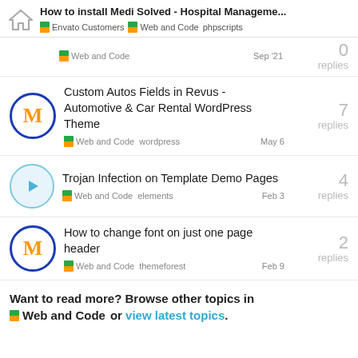How to install Medi Solved - Hospital Manageme... | Envato Customers | Web and Code phpscripts
Web and Code  Sep '21  0 replies
Custom Autos Fields in Revus - Automotive & Car Rental WordPress Theme | Web and Code wordpress  May 6  7 replies
Trojan Infection on Template Demo Pages | Web and Code elements  Feb 3  4 replies
How to change font on just one page header | Web and Code themeforest  Feb 9  2 replies
Want to read more? Browse other topics in Web and Code or view latest topics.